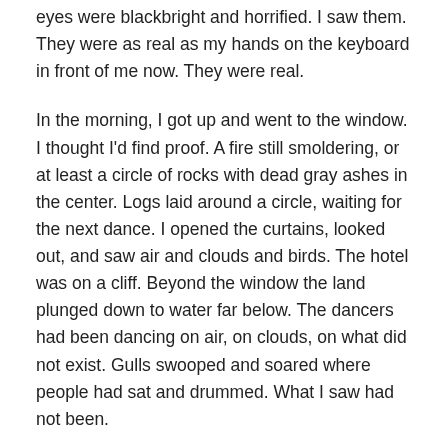eyes were blackbright and horrified. I saw them. They were as real as my hands on the keyboard in front of me now. They were real.
In the morning, I got up and went to the window. I thought I'd find proof. A fire still smoldering, or at least a circle of rocks with dead gray ashes in the center. Logs laid around a circle, waiting for the next dance. I opened the curtains, looked out, and saw air and clouds and birds. The hotel was on a cliff. Beyond the window the land plunged down to water far below. The dancers had been dancing on air, on clouds, on what did not exist. Gulls swooped and soared where people had sat and drummed. What I saw had not been.
But it was. I am reminded of it every time — every time — I pass that certain rock formation in the canyon. The same